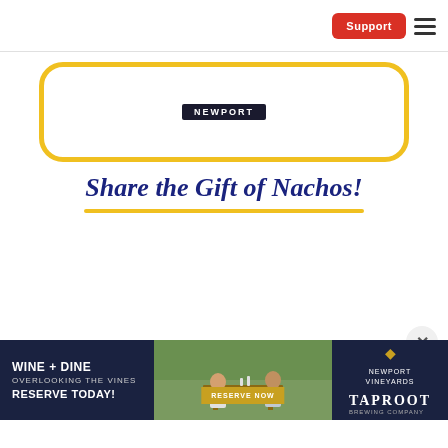Support
[Figure (logo): Newport Vineyards logo inside a gold rounded rectangle outline]
Share the Gift of Nachos!
[Figure (infographic): Close button (X) circle on right side]
[Figure (photo): Wine + Dine Overlooking The Vines Reserve Today! — Newport Vineyards Taproot ad banner with photo of people dining outdoors at vineyard, Reserve Now button, and Newport Vineyards / Taproot logos]